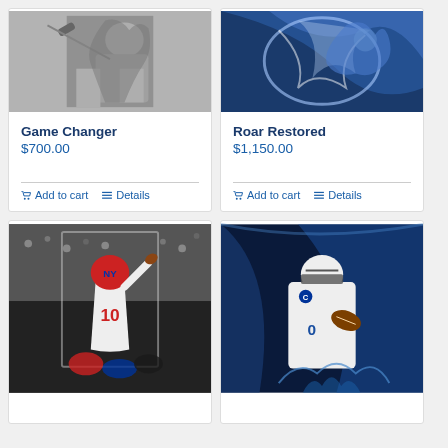[Figure (photo): Black and white photo of an athlete (boxer/fighter) in action]
Game Changer
$700.00
Add to cart  Details
[Figure (illustration): Colorful blue and silver illustration of a lion or fantasy figure]
Roar Restored
$1,150.00
Add to cart  Details
[Figure (illustration): Colorful painting of NY Giants football player #10 celebrating]
[Figure (illustration): Colorful painting of Detroit Lions football player/quarterback in blue]